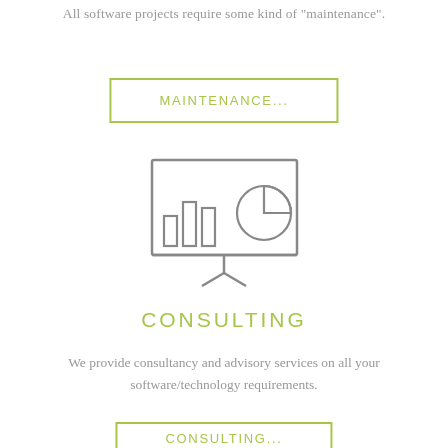All software projects require some kind of "maintenance".
MAINTENANCE...
[Figure (illustration): Icon of a presentation board/easel showing a bar chart and a pie chart, drawn in a simple outline style in gray.]
CONSULTING
We provide consultancy and advisory services on all your software/technology requirements.